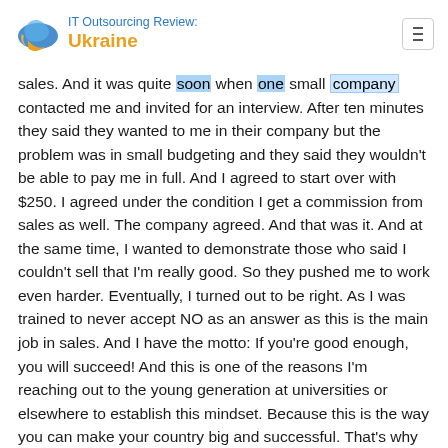IT Outsourcing Review: Ukraine
sales. And it was quite soon when one small company contacted me and invited for an interview. After ten minutes they said they wanted to me in their company but the problem was in small budgeting and they said they wouldn't be able to pay me in full. And I agreed to start over with $250. I agreed under the condition I get a commission from sales as well. The company agreed. And that was it. And at the same time, I wanted to demonstrate those who said I couldn't sell that I'm really good. So they pushed me to work even harder. Eventually, I turned out to be right. As I was trained to never accept NO as an answer as this is the main job in sales. And I have the motto: If you're good enough, you will succeed! And this is one of the reasons I'm reaching out to the young generation at universities or elsewhere to establish this mindset. Because this is the way you can make your country big and successful. That's why I'm very open to the young generation